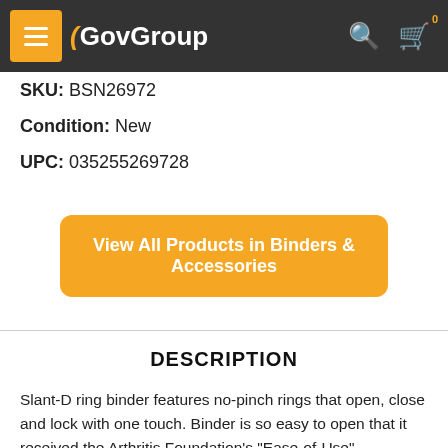GovGroup
SKU: BSN26972
Condition: New
UPC: 035255269728
View All Products in Binders & Accessories
DESCRIPTION
Slant-D ring binder features no-pinch rings that open, close and lock with one touch. Binder is so easy to open that it received the Arthritis Foundation's "Ease-of-Use" Commendation. EasyOpen Slant-D ring design holds 25 percent more sheets than standard round-ring binders. Locking steel rings are mounted on the back instead of the